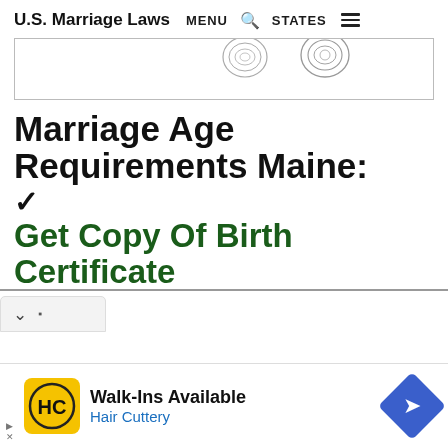U.S. Marriage Laws  MENU  Q  STATES
[Figure (photo): Partial image showing fingerprint graphics against a white background, cropped at the top]
Marriage Age Requirements Maine:
✓
Get Copy Of Birth Certificate
[Figure (screenshot): Dropdown/expand UI element with chevron and dot]
[Figure (infographic): Advertisement banner: HC logo (Hair Cuttery), Walk-Ins Available, Hair Cuttery, with a blue diamond navigation icon]